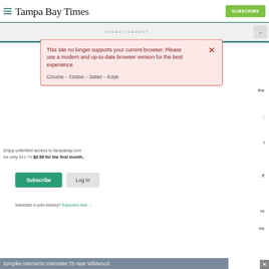Tampa Bay Times
ADVERTISEMENT
This site no longer supports your current browser. Please use a modern and up-to-date browser version for the best experience.
Chrome – Firefox – Safari – Edge
Enjoy unlimited access to tampabay.com for only $11.75 $0.99 for the first month.
Subscribe   Log In
Interested in print delivery? Subscribe here →
turnpike intersects Interstate 75 near Wildwood.